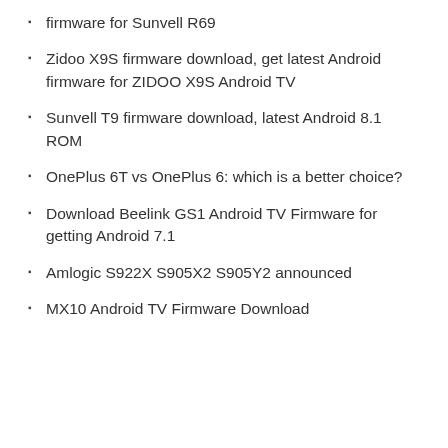firmware for Sunvell R69
Zidoo X9S firmware download, get latest Android firmware for ZIDOO X9S Android TV
Sunvell T9 firmware download, latest Android 8.1 ROM
OnePlus 6T vs OnePlus 6: which is a better choice?
Download Beelink GS1 Android TV Firmware for getting Android 7.1
Amlogic S922X S905X2 S905Y2 announced
MX10 Android TV Firmware Download